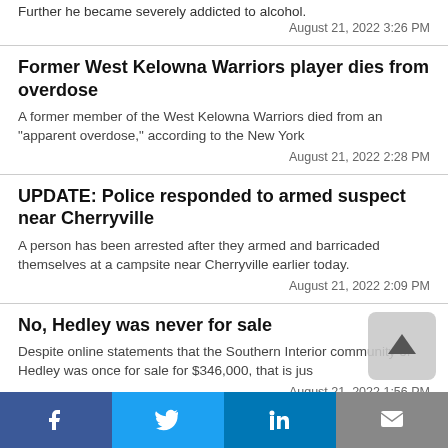Further he became severely addicted to alcohol.
August 21, 2022 3:26 PM
Former West Kelowna Warriors player dies from overdose
A former member of the West Kelowna Warriors died from an "apparent overdose," according to the New York
August 21, 2022 2:28 PM
UPDATE: Police responded to armed suspect near Cherryville
A person has been arrested after they armed and barricaded themselves at a campsite near Cherryville earlier today.
August 21, 2022 2:09 PM
No, Hedley was never for sale
Despite online statements that the Southern Interior community of Hedley was once for sale for $346,000, that is jus
August 21, 2022 1:56 PM
Vernon to cut down trees for peanut pool revamp